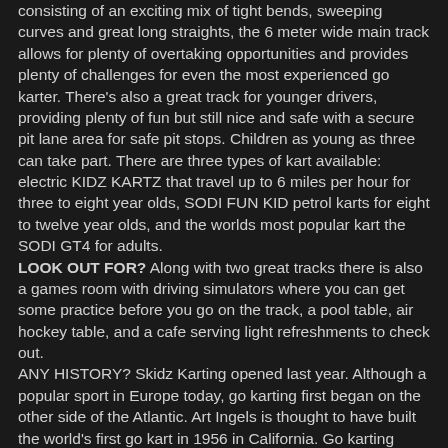consisting of an exciting mix of tight bends, sweeping curves and great long straights, the 6 meter wide main track allows for plenty of overtaking opportunities and provides plenty of challenges for even the most experienced go karter. There's also a great track for younger drivers, providing plenty of fun but still nice and safe with a secure pit lane area for safe pit stops. Children as young as three can take part. There are three types of kart available: electric KIDZ KARTZ that travel up to 6 miles per hour for three to eight year olds, SODI FUN KID petrol karts for eight to twelve year olds, and the worlds most popular kart the SODI GT4 for adults. LOOK OUT FOR? Along with two great tracks there is also a games room with driving simulators where you can get some practice before you go on the track, a pool table, air hockey table, and a cafe serving light refreshments to check out. ANY HISTORY? Skidz Karting opened last year. Although a popular sport in Europe today, go karting first began on the other side of the Atlantic. Art Ingels is thought to have built the world's first go kart in 1956 in California. Go karting quickly caught on with tracks built in many towns and cities across the United States. WHAT TO TAKE? Drivers will have to make a one time